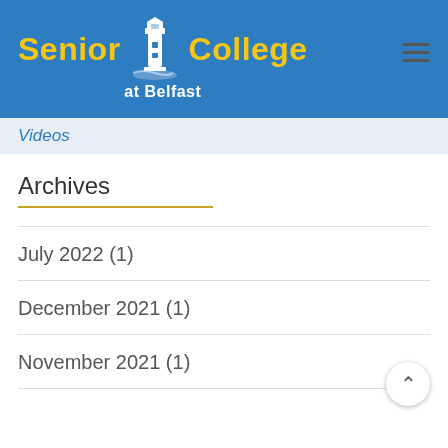Senior College at Belfast
Videos
Archives
July 2022 (1)
December 2021 (1)
November 2021 (1)